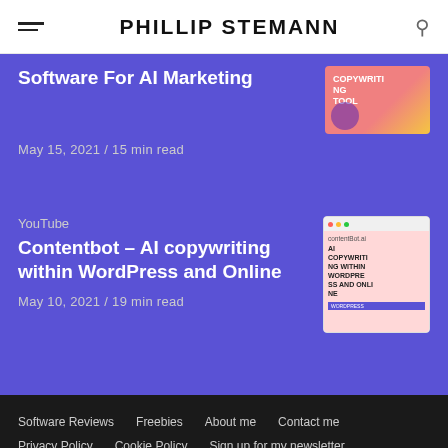PHILLIP STEMANN
Software For AI Marketing
May 15, 2021 / 15 min read
YouTube
Contentbot – AI copywriting within WordPress and Online
May 10, 2021 / 19 min read
Software Reviews   Freebies   About me   Contact me   Privacy Policy   Cookie Policy   Sign up for my newsletter